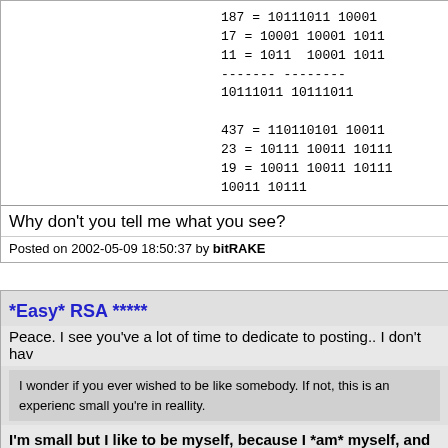187 = 10111011 10001
17 = 10001 10001 1011
11 = 1011 10001 1011
------- --------
10111011 10111011

437 = 110110101 10011
23 = 10111 10011 10111
19 = 10011 10011 10111
10011 10111
Why don't you tell me what you see?
Posted on 2002-05-09 18:50:37 by bitRAKE
*Easy* RSA *****
Peace. I see you've a lot of time to dedicate to posting.. I don't hav
I wonder if you ever wished to be like somebody. If not, this is an experienc small you're in reallity.
I'm small but I like to be myself, because I *am* myself, and n
I never abused of you in any way, I think that who knows me can t personal attacks. I rather think you abused of this assembly forum luck playing games with people on the forum.. as long as others a
If you are angry is because other people may get upset when you requires 10, maybe 100 words, expecially because after all the frie Heap"), this is an assembly forum, and this zone specifically is de code. But I'm not a picky person, so what..